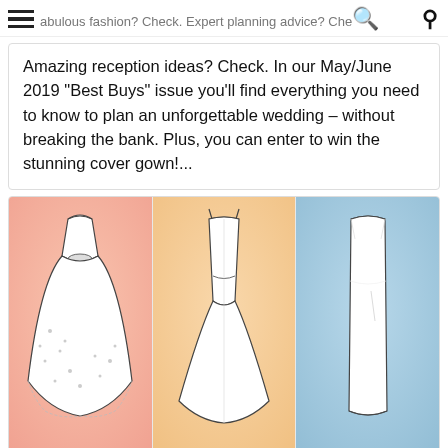abulous fashion? Check. Expert planning advice? Check.
Amazing reception ideas? Check. In our May/June 2019 “Best Buys” issue you’ll find everything you need to know to plan an unforgettable wedding – without breaking the bank. Plus, you can enter to win the stunning cover gown!...
[Figure (illustration): Three wedding dress style illustrations side by side. Left panel has pink watercolor background with an A-Line ball gown dress sketch labeled 'a-Line'. Center panel has peach/orange watercolor background with a Trumpet style dress sketch labeled 'Trumpet'. Right panel has blue watercolor background with a Column style dress sketch labeled 'Column'. Bottom strip shows partial view of additional dresses.]